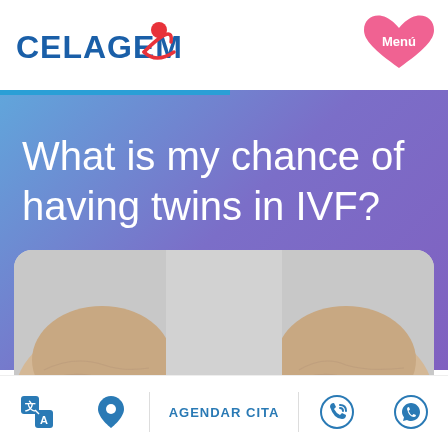CELAGEM
What is my chance of having twins in IVF?
[Figure (photo): Two baby heads seen from above on a light grey rounded background, representing twins born through IVF]
AGENDAR CITA